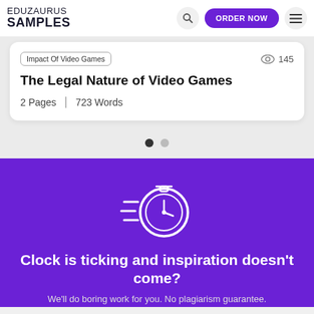EDUZAURUS SAMPLES
Impact Of Video Games · 145 views
The Legal Nature of Video Games
2 Pages | 723 Words
[Figure (illustration): Carousel pagination dots — one filled dark dot and one grey dot]
[Figure (illustration): White stopwatch/clock icon on purple background, with speed lines to the left suggesting fast motion]
Clock is ticking and inspiration doesn't come?
We'll do boring work for you. No plagiarism guarantee.